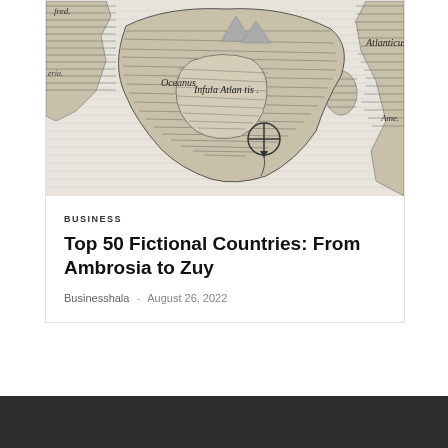[Figure (illustration): An antique engraved map showing fictional/mythological Atlantis ('Infula Atlantis') surrounded by ocean ('Oceanus Atlanticus'), with landmasses including a portion labeled 'Ame...' (Americas) visible on the right edge. Black and white engraving style with crosshatching.]
BUSINESS
Top 50 Fictional Countries: From Ambrosia to Zuy
Businesshala  -  August 26, 2022